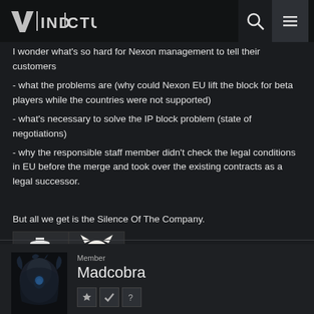VINDICTUS
I wonder what's so hard for Nexon management to tell their customers
- what the problems are (why could Nexon EU lift the block for beta players while the countries were not supported)
- what's necessary to solve the IP block problem (state of negotiations)
- why the responsible staff member didn't check the legal conditions in EU before the merge and took over the existing contracts as a legal successor.

But all we get is the Silence Of The Company.
[Figure (illustration): Two emoji-style reaction images: a duck figure and a cat figure with red accessories]
Member
Madcobra
[Figure (photo): User avatar showing a dark armored character]